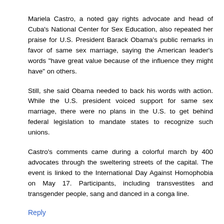Mariela Castro, a noted gay rights advocate and head of Cuba's National Center for Sex Education, also repeated her praise for U.S. President Barack Obama's public remarks in favor of same sex marriage, saying the American leader's words "have great value because of the influence they might have" on others.
Still, she said Obama needed to back his words with action. While the U.S. president voiced support for same sex marriage, there were no plans in the U.S. to get behind federal legislation to mandate states to recognize such unions.
Castro's comments came during a colorful march by 400 advocates through the sweltering streets of the capital. The event is linked to the International Day Against Homophobia on May 17. Participants, including transvestites and transgender people, sang and danced in a conga line.
Reply